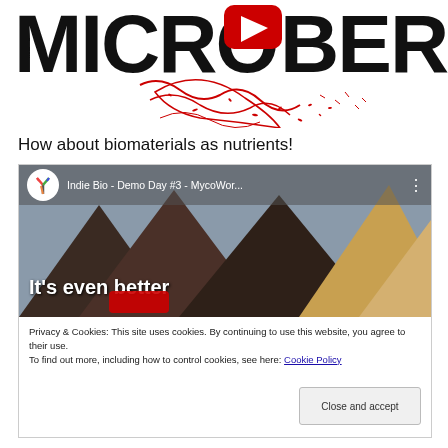[Figure (illustration): Large text logo reading MICROFIBERS with YouTube play button icon replacing the letter O, and red hand-drawn fiber/bacteria illustrations below the text]
How about biomaterials as nutrients!
[Figure (screenshot): YouTube video embed thumbnail showing 'Indie Bio - Demo Day #3 - MycoWor...' with channel logo (colorful Y-shape), three dark fabric/material samples and one light sample arranged as mountains, with text 'It's even better' overlaid. Below the video is a cookie consent bar with text: 'Privacy & Cookies: This site uses cookies. By continuing to use this website, you agree to their use. To find out more, including how to control cookies, see here: Cookie Policy' and a 'Close and accept' button.]